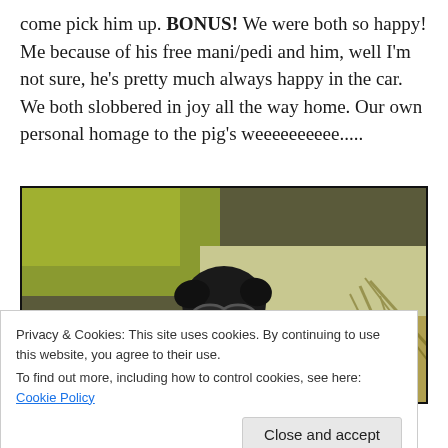come pick him up. BONUS! We were both so happy! Me because of his free mani/pedi and him, well I'm not sure, he's pretty much always happy in the car. We both slobbered in joy all the way home. Our own personal homage to the pig's weeeeeeeeee.....
[Figure (photo): A dark dog wearing sunglasses sitting on a sidewalk with a yellow-green tinted lawn in the background.]
Privacy & Cookies: This site uses cookies. By continuing to use this website, you agree to their use. To find out more, including how to control cookies, see here: Cookie Policy
My dog is such a pimp.